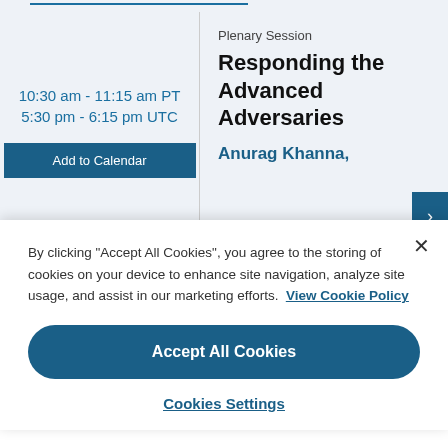10:30 am - 11:15 am PT
5:30 pm - 6:15 pm UTC
Add to Calendar
Plenary Session
Responding the Advanced Adversaries
Anurag Khanna,
By clicking "Accept All Cookies", you agree to the storing of cookies on your device to enhance site navigation, analyze site usage, and assist in our marketing efforts. View Cookie Policy
Accept All Cookies
Cookies Settings